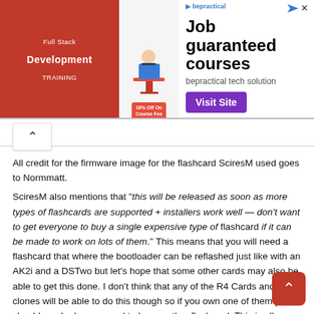[Figure (screenshot): Advertisement banner for bepractical tech solution offering Full Stack Development Training job guaranteed courses with 10% off on course fee and a Visit Site button]
All credit for the firmware image for the flashcard SciresM used goes to Normmatt. SciresM also mentions that "this will be released as soon as more types of flashcards are supported + installers work well — don't want to get everyone to buy a single expensive type of flashcard if it can be made to work on lots of them." This means that you will need a flashcard that where the bootloader can be reflashed just like with an AK2i and a DSTwo but let's hope that some other cards may also be able to get this done. I don't think that any of the R4 Cards and clones will be able to do this though so if you own one of them you should maybe be prepared to buy another flashcard. This is all speculation for now though until it will be confirmed officially so don't run around wasting your Money on Flashcards now until you know which Flashcard you'll actually need.